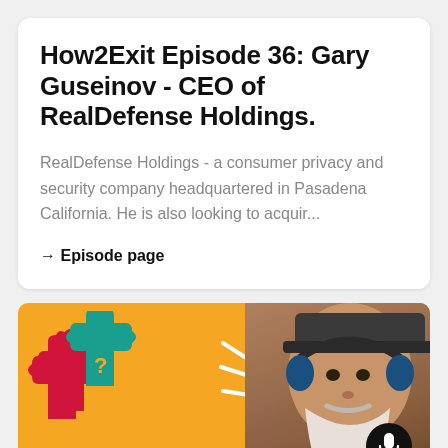How2Exit Episode 36: Gary Guseinov - CEO of RealDefense Holdings.
RealDefense Holdings - a consumer privacy and security company headquartered in Pasadena California. He is also looking to acquir...
→ Episode page
[Figure (illustration): How2Exit podcast banner with orange background, two interlocking puzzle pieces (pink/red and teal), host photo on right wearing headphones and cap with beard, microphone button icon, HOW2EXIT logo text at bottom left, and 'TALKING WITH ENTREPRENEURS' text]